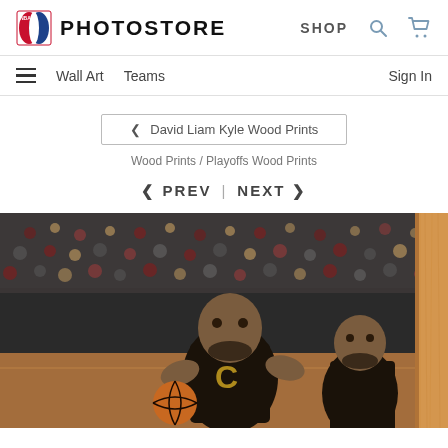NBA PHOTOSTORE | SHOP
Wall Art   Teams   Sign In
< David Liam Kyle Wood Prints
Wood Prints / Playoffs Wood Prints
< PREV  |  NEXT >
[Figure (photo): NBA player LeBron James in Cleveland Cavaliers dark jersey dribbling basketball during a playoff game, crowd visible in background. Photo printed on wood block.]